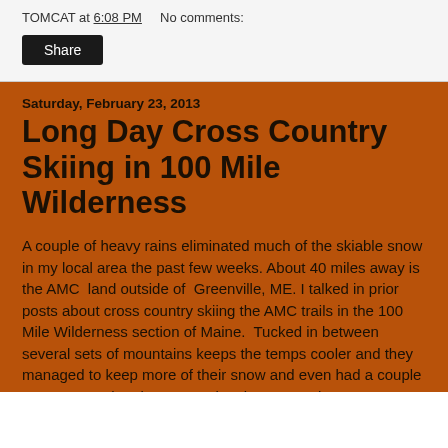TOMCAT at 6:08 PM    No comments:
Share
Saturday, February 23, 2013
Long Day Cross Country Skiing in 100 Mile Wilderness
A couple of heavy rains eliminated much of the skiable snow in my local area the past few weeks.  About 40 miles away is the AMC  land outside of  Greenville, ME. I talked in prior posts about cross country skiing the AMC trails in the 100 Mile Wilderness section of Maine.  Tucked in between several sets of mountains keeps the temps cooler and they managed to keep more of their snow and even had a couple new snows when it was mostly rain near my house.
I haven't cross country skied in nearly a month and was anxious to get out again.  A sickness last weekend kept me indoors so I finally got  yesterday.  There are many ski options mostly based around the lodges that people use for